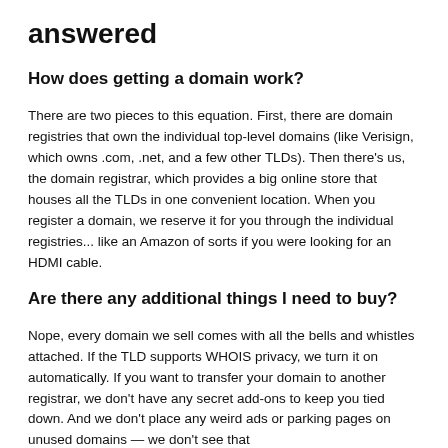answered
How does getting a domain work?
There are two pieces to this equation. First, there are domain registries that own the individual top-level domains (like Verisign, which owns .com, .net, and a few other TLDs). Then there's us, the domain registrar, which provides a big online store that houses all the TLDs in one convenient location. When you register a domain, we reserve it for you through the individual registries... like an Amazon of sorts if you were looking for an HDMI cable.
Are there any additional things I need to buy?
Nope, every domain we sell comes with all the bells and whistles attached. If the TLD supports WHOIS privacy, we turn it on automatically. If you want to transfer your domain to another registrar, we don't have any secret add-ons to keep you tied down. And we don't place any weird ads or parking pages on unused domains — we don't see that